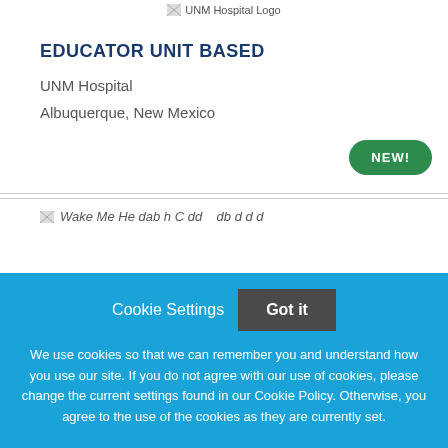[Figure (logo): UNM Hospital Logo]
EDUCATOR UNIT BASED
UNM Hospital
Albuquerque, New Mexico
[Figure (other): NEW! badge (green pill-shaped badge)]
[Figure (other): Partially visible image/logo row at bottom of content area]
Cookie Settings  Got it
We use cookies so that we can remember you and understand how you use our site. If you do not agree with our use of cookies, please change the current settings found in our Cookie Policy. Otherwise, you agree to the use of the cookies as they are currently set.